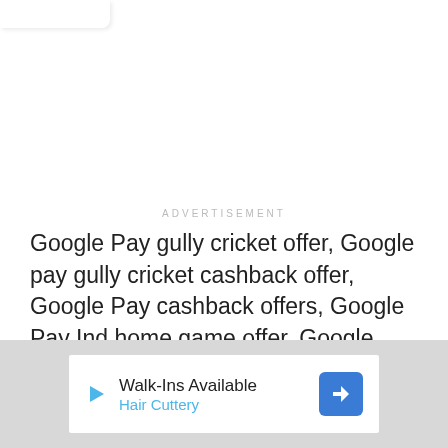[Figure (screenshot): Top tab/browser chrome element at top-left corner]
ADVERTISEMENT
Google Pay gully cricket offer, Google pay gully cricket cashback offer, Google Pay cashback offers, Google Pay Ind home game offer, Google Pay Gully cricket game, Google Pay collect cards and earn cashback.
Hello Guys! I hope you all are fine. Today, I am back with
[Figure (screenshot): Advertisement banner at bottom: Walk-Ins Available / Hair Cuttery with play icon and navigation icon]